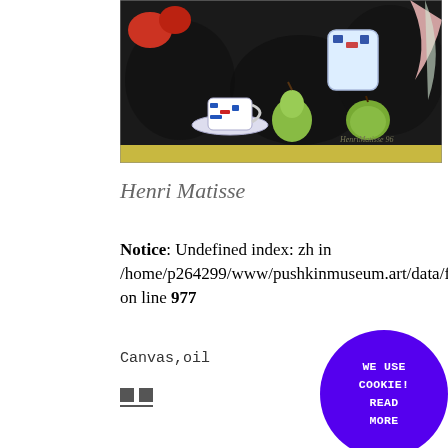[Figure (photo): Painting cropped view showing a still life with blue and white teacup on saucer, green pear, green apple, red objects, decorative vase, pink flower, all on a dark background with a yellow/olive horizontal band at bottom. Artist signature visible at lower right.]
Henri Matisse
Notice: Undefined index: zh in /home/p264299/www/pushkinmuseum.art/data/fo... on line 977
Canvas,oil
[Figure (infographic): Two small dark gray squares with a short horizontal line underneath — social sharing or navigation icons]
WE USE COOKIE! READ MORE